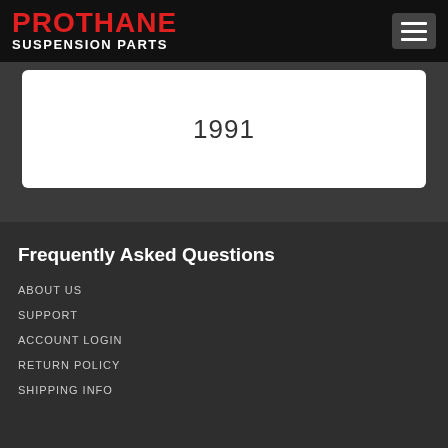PROTHANE SUSPENSION PARTS
1991
Frequently Asked Questions
ABOUT US
SUPPORT
ACCOUNT LOGIN
RETURN POLICY
SHIPPING INFO